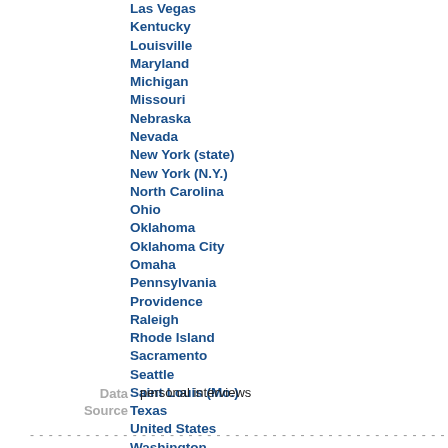Las Vegas
Kentucky
Louisville
Maryland
Michigan
Missouri
Nebraska
Nevada
New York (state)
New York (N.Y.)
North Carolina
Ohio
Oklahoma
Oklahoma City
Omaha
Pennsylvania
Providence
Raleigh
Rhode Island
Sacramento
Seattle
Saint Louis (Mo.)
Texas
United States
Washington
Data Source: personal interviews